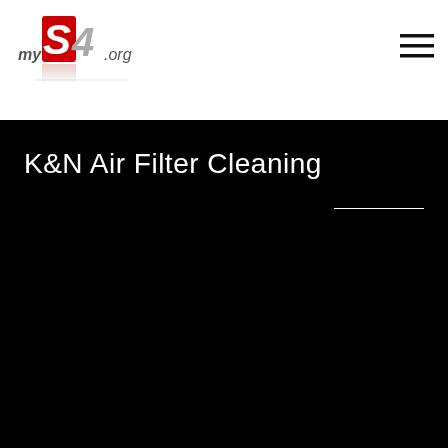[Figure (logo): myS4.org website logo with red S4 letters and reflection]
[Figure (other): Hamburger menu icon with three horizontal lines]
K&N Air Filter Cleaning